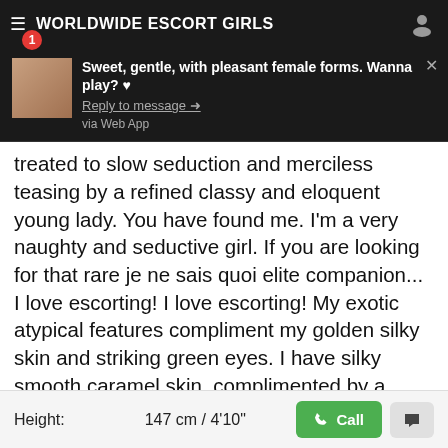WORLDWIDE ESCORT GIRLS
[Figure (screenshot): Toast notification overlay showing a message: 'Sweet, gentle, with pleasant female forms. Wanna play? ♥' with Reply to message arrow and 'via Web App' text]
treated to slow seduction and merciless teasing by a refined classy and eloquent young lady. You have found me. I'm a very naughty and seductive girl. If you are looking for that rare je ne sais quoi elite companion... I love escorting! I love escorting! My exotic atypical features compliment my golden silky skin and striking green eyes. I have silky smooth caramel skin, complimented by a peach shaped bottom (perfect for spanking). I am a very friendly, well mannered person and of course a playful. I am blessed with a shapely curvy hourglass figure that exudes sex appeal 34-24-36.
Amrapali (29), Belgium, escort girl
Height: 147 cm / 4'10"